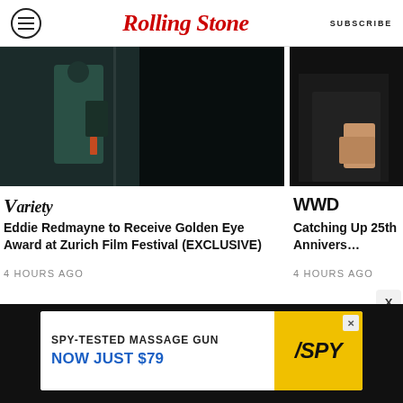Rolling Stone | SUBSCRIBE
[Figure (screenshot): Article card image: dark scene with person in teal/green medical scrubs opening a door (Variety article about Eddie Redmayne)]
VARIETY
Eddie Redmayne to Receive Golden Eye Award at Zurich Film Festival (EXCLUSIVE)
4 HOURS AGO
[Figure (screenshot): Article card image: dark background, partially visible figure in black (WWD article, partially cropped)]
WWD
Catching Up 25th Annivers…
4 HOURS AGO
[Figure (infographic): Advertisement banner: SPY-TESTED MASSAGE GUN NOW JUST $79 with SPY logo on yellow background]